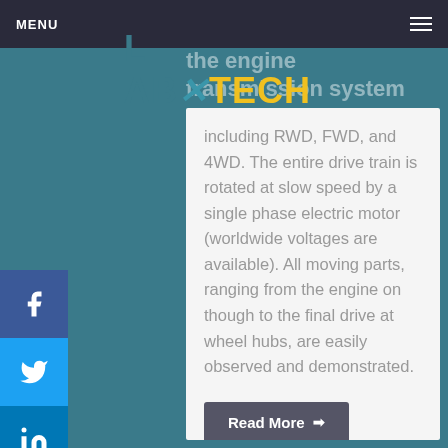MENU
[Figure (logo): LabXTech logo with blue and yellow text]
The drive train features the engine transmission system for all types and configurations including RWD, FWD, and 4WD. The entire drive train is rotated at slow speed by a single phase electric motor (worldwide voltages are available). All moving parts, ranging from the engine on though to the final drive at wheel hubs, are easily observed and demonstrated.
Read More